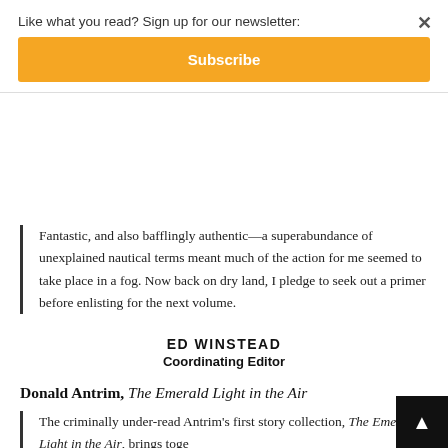Like what you read? Sign up for our newsletter:
Subscribe
Fantastic, and also bafflingly authentic—a superabundance of unexplained nautical terms meant much of the action for me seemed to take place in a fog. Now back on dry land, I pledge to seek out a primer before enlisting for the next volume.
ED WINSTEAD
Coordinating Editor
Donald Antrim, The Emerald Light in the Air
The criminally under-read Antrim's first story collection, The Emerald Light in the Air, brings toge